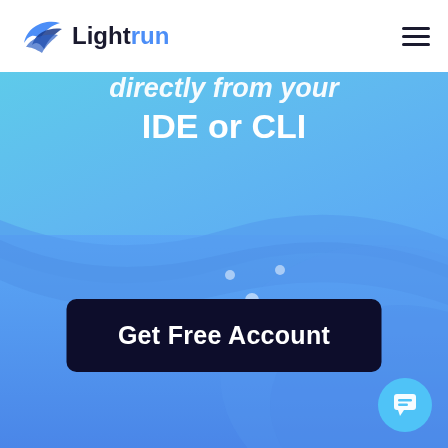[Figure (logo): Lightrun logo with bird/lightning bolt icon on the left, text 'Lightrun' with 'Light' in dark navy and 'run' in blue]
[Figure (illustration): Hamburger menu icon (three horizontal lines) in top-right of header]
directly from your IDE or CLI
[Figure (illustration): Blue gradient hero background with decorative wave shapes and small circle dots]
Get Free Account
[Figure (illustration): Cyan circular chat/support bubble icon in bottom-right corner]